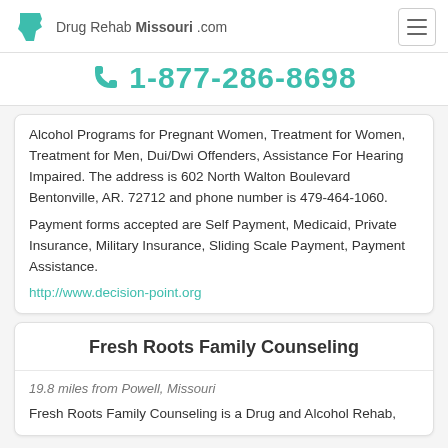Drug Rehab Missouri .com
1-877-286-8698
Alcohol Programs for Pregnant Women, Treatment for Women, Treatment for Men, Dui/Dwi Offenders, Assistance For Hearing Impaired. The address is 602 North Walton Boulevard Bentonville, AR. 72712 and phone number is 479-464-1060.
Payment forms accepted are Self Payment, Medicaid, Private Insurance, Military Insurance, Sliding Scale Payment, Payment Assistance.
http://www.decision-point.org
Fresh Roots Family Counseling
19.8 miles from Powell, Missouri
Fresh Roots Family Counseling is a Drug and Alcohol Rehab,